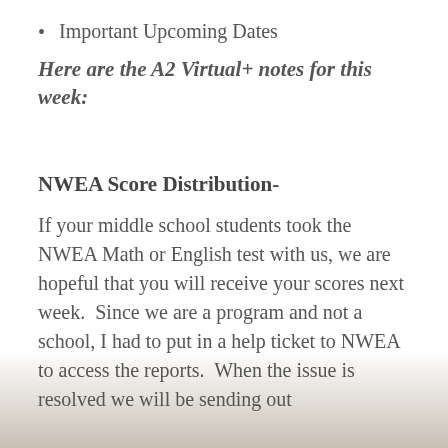Important Upcoming Dates
Here are the A2 Virtual+ notes for this week:
NWEA Score Distribution-
If your middle school students took the NWEA Math or English test with us, we are hopeful that you will receive your scores next week.  Since we are a program and not a school, I had to put in a help ticket to NWEA to access the reports.  When the issue is resolved we will be sending out